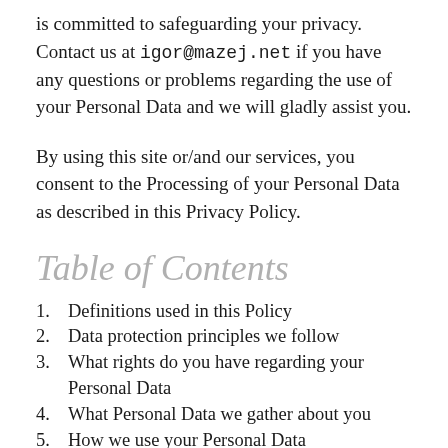is committed to safeguarding your privacy. Contact us at igor@mazej.net if you have any questions or problems regarding the use of your Personal Data and we will gladly assist you.
By using this site or/and our services, you consent to the Processing of your Personal Data as described in this Privacy Policy.
Table of Contents
1. Definitions used in this Policy
2. Data protection principles we follow
3. What rights do you have regarding your Personal Data
4. What Personal Data we gather about you
5. How we use your Personal Data
6. Who else has access to your Personal Data
7. How we secure your data